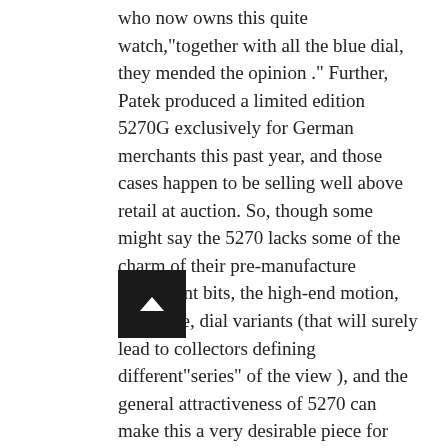who now owns this quite watch,"together with all the blue dial, they mended the opinion ." Further, Patek produced a limited edition 5270G exclusively for German merchants this past year, and those cases happen to be selling well above retail at auction. So, though some might say the 5270 lacks some of the charm of their pre-manufacture movement bits, the high-end motion, large size, dial variants (that will surely lead to collectors defining different"series" of the view ), and the general attractiveness of 5270 can make this a very desirable piece for generations.
Conclusion
There is so much to appreciate about the 5270. It is fitted with a totally superb in-house movement housed with a totally balanced and proportioned I'll admit, I was a skeptic on the new 29-535 PS, believing it would not function in addition to the heritage caliber 27-70. I was impressed by its operational performance and precision.
The dial is expansive, logically laid out and simple